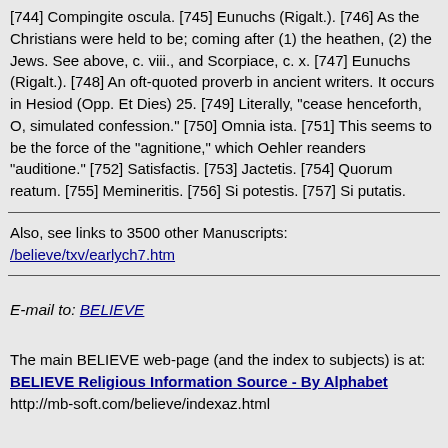[744] Compingite oscula. [745] Eunuchs (Rigalt.). [746] As the Christians were held to be; coming after (1) the heathen, (2) the Jews. See above, c. viii., and Scorpiace, c. x. [747] Eunuchs (Rigalt.). [748] An oft-quoted proverb in ancient writers. It occurs in Hesiod (Opp. Et Dies) 25. [749] Literally, "cease henceforth, O, simulated confession." [750] Omnia ista. [751] This seems to be the force of the "agnitione," which Oehler reanders "auditione." [752] Satisfactis. [753] Jactetis. [754] Quorum reatum. [755] Memineritis. [756] Si potestis. [757] Si putatis.
Also, see links to 3500 other Manuscripts: /believe/txv/earlych7.htm
E-mail to: BELIEVE
The main BELIEVE web-page (and the index to subjects) is at: BELIEVE Religious Information Source - By Alphabet http://mb-soft.com/believe/indexaz.html